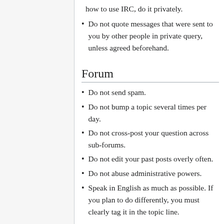how to use IRC, do it privately.
Do not quote messages that were sent to you by other people in private query, unless agreed beforehand.
Forum
Do not send spam.
Do not bump a topic several times per day.
Do not cross-post your question across sub-forums.
Do not edit your past posts overly often.
Do not abuse administrative powers.
Speak in English as much as possible. If you plan to do differently, you must clearly tag it in the topic line.